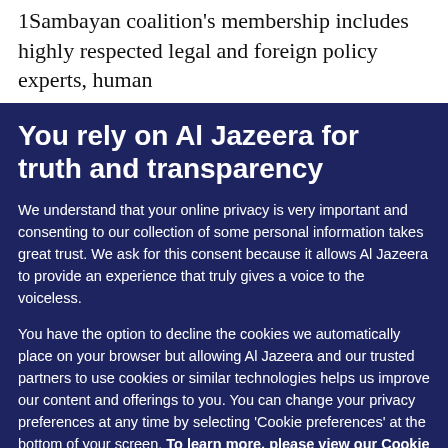1Sambayan coalition's membership includes highly respected legal and foreign policy experts, human
You rely on Al Jazeera for truth and transparency
We understand that your online privacy is very important and consenting to our collection of some personal information takes great trust. We ask for this consent because it allows Al Jazeera to provide an experience that truly gives a voice to the voiceless.
You have the option to decline the cookies we automatically place on your browser but allowing Al Jazeera and our trusted partners to use cookies or similar technologies helps us improve our content and offerings to you. You can change your privacy preferences at any time by selecting 'Cookie preferences' at the bottom of your screen. To learn more, please view our Cookie Policy.